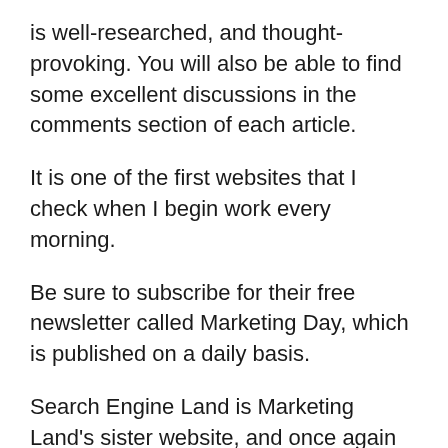is well-researched, and thought-provoking. You will also be able to find some excellent discussions in the comments section of each article.
It is one of the first websites that I check when I begin work every morning.
Be sure to subscribe for their free newsletter called Marketing Day, which is published on a daily basis.
Search Engine Land is Marketing Land's sister website, and once again like it's other half, is an outstanding resource for up-to-date information on everything going on in the world of marketing and all it's niches.